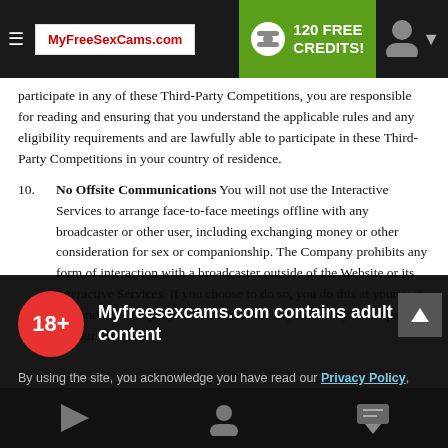[Figure (screenshot): Website navigation bar with hamburger menu, MyFreeSexCams.com logo, 120 FREE CREDITS! button in green, and user icon on dark background]
participate in any of these Third-Party Competitions, you are responsible for reading and ensuring that you understand the applicable rules and any eligibility requirements and are lawfully able to participate in these Third-Party Competitions in your country of residence.
10. No Offsite Communications You will not use the Interactive Services to arrange face-to-face meetings offline with any broadcaster or other user, including exchanging money or other consideration for sex or companionship. The Company prohibits any form of interaction with a broadcaster outside of the Website or its Interactive Services. If you choose to do so, you do this at your own risk and the Company will not be liable to you for any consequences of your choice.
[Figure (screenshot): Adult content age verification overlay: 18+ badge, title 'Myfreesexcams.com contains adult content', privacy policy acknowledgment text, cookie notice, I AGREE button]
By using the site, you acknowledge you have read our Privacy Policy, and agree to our Terms and Conditions.
We use cookies to optimize your experience, analyze traffic, and deliver more personalized service. To learn more, please see our Privacy Policy.
I AGREE